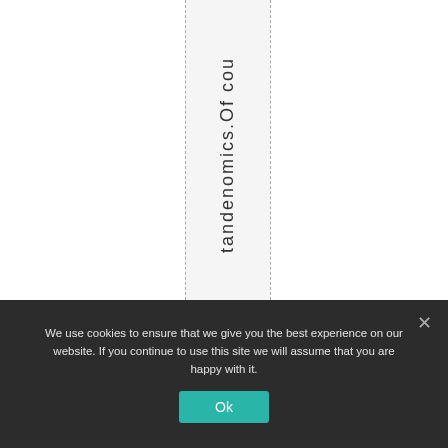tandenomics.Of cou
We use cookies to ensure that we give you the best experience on our website. If you continue to use this site we will assume that you are happy with it.